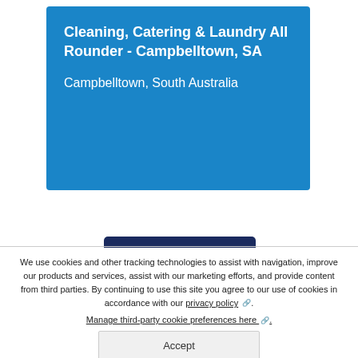Cleaning, Catering & Laundry All Rounder - Campbelltown, SA
Campbelltown, South Australia
We use cookies and other tracking technologies to assist with navigation, improve our products and services, assist with our marketing efforts, and provide content from third parties. By continuing to use this site you agree to our use of cookies in accordance with our privacy policy. Manage third-party cookie preferences here.
Accept